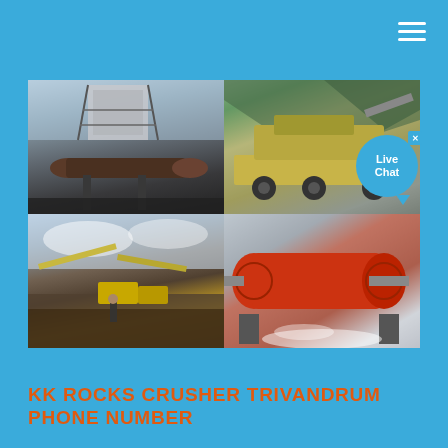[Figure (photo): Four-panel industrial photo collage showing mining and crushing equipment: top-left shows a rotary kiln/industrial furnace structure with metal framework; top-right shows a mobile crushing/screening plant on trucks near a mountain; bottom-left shows an open-pit mining site with conveyor belts and heavy equipment; bottom-right shows a red horizontal ball mill or grinding drum with water/steam.]
KK ROCKS CRUSHER TRIVANDRUM PHONE NUMBER